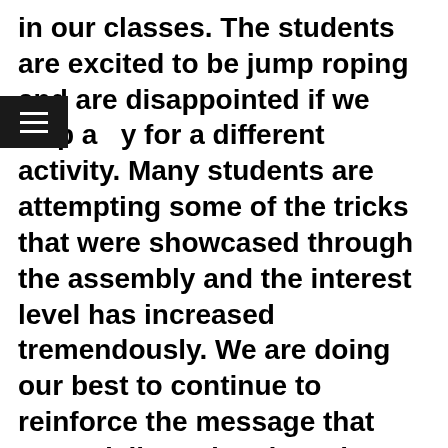in our classes. The students are excited to be jump roping and are disappointed if we skip a day for a different activity. Many students are attempting some of the tricks that were showcased through the assembly and the interest level has increased tremendously. We are doing our best to continue to reinforce the message that Peter delivered and teach our students that they can do anything they set their mind to as long as they take the appropriate steps. Peter Nestler's performance was entertaining, engaging, and had some of our students on the edge of their seats throughout the entire performance. We hope that he can